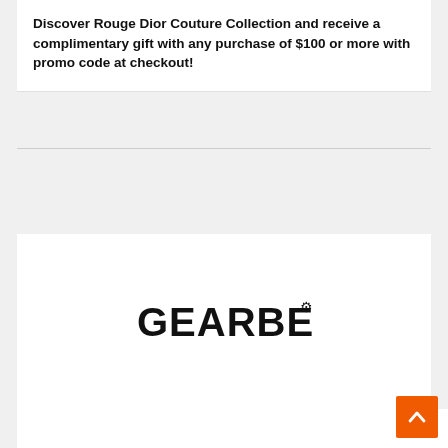Discover Rouge Dior Couture Collection and receive a complimentary gift with any purchase of $100 or more with promo code at checkout!
[Figure (logo): GearBest logo - stylized text reading GEARBEST with a small gear symbol superscript]